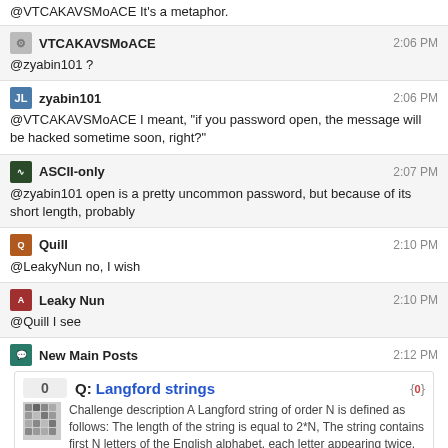@VTCAKAVSMoACE It's a metaphor.
VTCAKAVSMoACE  2:06 PM
@zyabin101 ?
zyabin101  2:06 PM
@VTCAKAVSMoACE I meant, "if you password open, the message will be hacked sometime soon, right?"
ASCII-only  2:07 PM
@zyabin101 open is a pretty uncommon password, but because of its short length, probably
Quill  2:10 PM
@LeakyNun no, I wish
Leaky Nun  2:10 PM
@Quill I see
New Main Posts  2:12 PM
[Figure (screenshot): Q: Langford strings card with vote score 0, challenge description about Langford strings, tags: code-golf, string]
zyabin101  2:15 PM